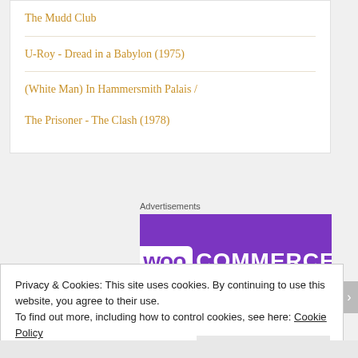The Mudd Club
U-Roy - Dread in a Babylon (1975)
(White Man) In Hammersmith Palais / The Prisoner - The Clash (1978)
Advertisements
[Figure (logo): WooCommerce logo on purple background]
Privacy & Cookies: This site uses cookies. By continuing to use this website, you agree to their use.
To find out more, including how to control cookies, see here: Cookie Policy
Close and accept